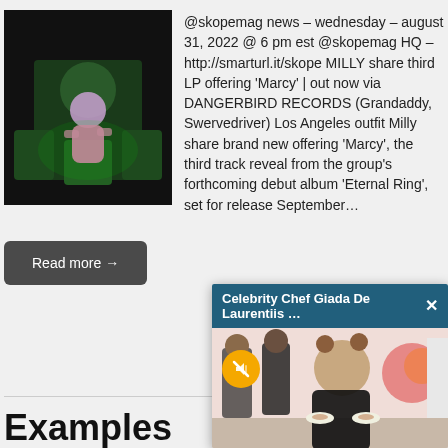[Figure (photo): A woman in a pink outfit sitting in a green theater seat, photo with dark background and green lighting]
@skopemag news – wednesday – august 31, 2022 @ 6 pm est @skopemag HQ – http://smarturl.it/skope MILLY share third LP offering 'Marcy' | out now via DANGERBIRD RECORDS (Grandaddy, Swervedriver) Los Angeles outfit Milly share brand new offering 'Marcy', the third track reveal from the group's forthcoming debut album 'Eternal Ring', set for release September…
Read more →
[Figure (screenshot): Popup video overlay: Celebrity Chef Giada De Laurentiis … with a close button, showing a woman smiling holding plates at a food event with staff in background]
Examples